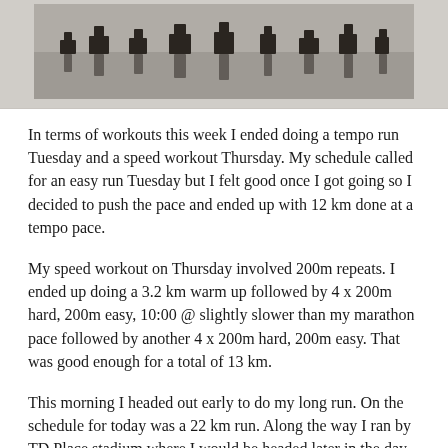[Figure (photo): Black and white photograph showing silhouettes of people reflected in water, partial view cropped at top of page]
In terms of workouts this week I ended doing a tempo run Tuesday and a speed workout Thursday. My schedule called for an easy run Tuesday but I felt good once I got going so I decided to push the pace and ended up with 12 km done at a tempo pace.
My speed workout on Thursday involved 200m repeats. I ended up doing a 3.2 km warm up followed by 4 x 200m hard, 200m easy, 10:00 @ slightly slower than my marathon pace followed by another 4 x 200m hard, 200m easy. That was good enough for a total of 13 km.
This morning I headed out early to do my long run. On the schedule for today was a 22 km run. Along the way I ran by TD Place stadium where I would be headed later in the day for